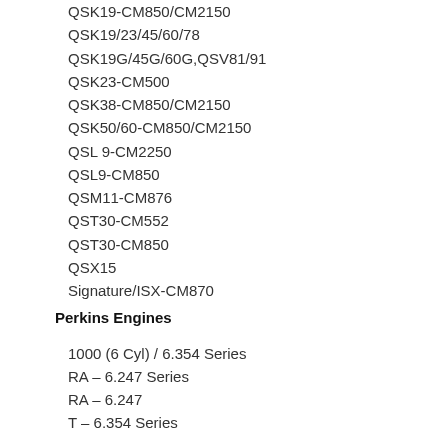QSK19-CM850/CM2150
QSK19/23/45/60/78
QSK19G/45G/60G,QSV81/91
QSK23-CM500
QSK38-CM850/CM2150
QSK50/60-CM850/CM2150
QSL 9-CM2250
QSL9-CM850
QSM11-CM876
QST30-CM552
QST30-CM850
QSX15
Signature/ISX-CM870
Perkins Engines
1000 (6 Cyl) / 6.354 Series
RA – 6.247 Series
RA – 6.247
T – 6.354 Series